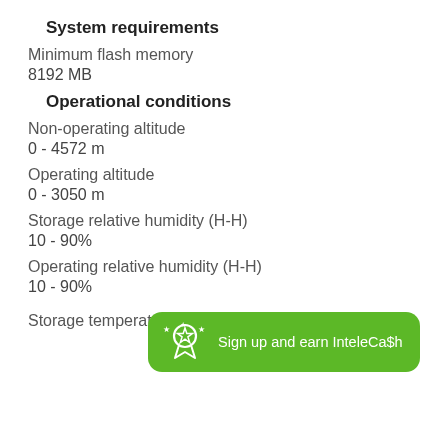System requirements
Minimum flash memory
8192 MB
Operational conditions
Non-operating altitude
0 - 4572 m
Operating altitude
0 - 3050 m
Storage relative humidity (H-H)
10 - 90%
Operating relative humidity (H-H)
10 - 90%
[Figure (infographic): Green rounded banner with star/ribbon icon and text: Sign up and earn InteleCa$h]
Storage temperature (T-T)